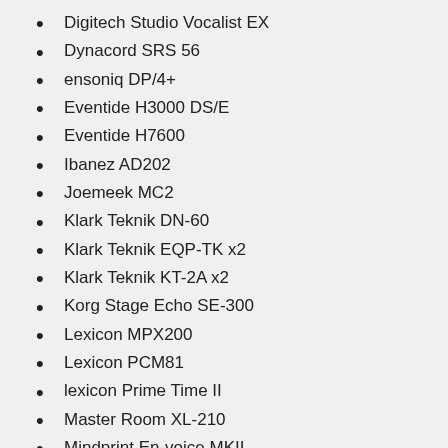Digitech Studio Vocalist EX
Dynacord SRS 56
ensoniq DP/4+
Eventide H3000 DS/E
Eventide H7600
Ibanez AD202
Joemeek MC2
Klark Teknik DN-60
Klark Teknik EQP-TK x2
Klark Teknik KT-2A x2
Korg Stage Echo SE-300
Lexicon MPX200
Lexicon PCM81
lexicon Prime Time II
Master Room XL-210
Mindprint En-voice MKII
RNC PBC-6A
Sherman Filterbank